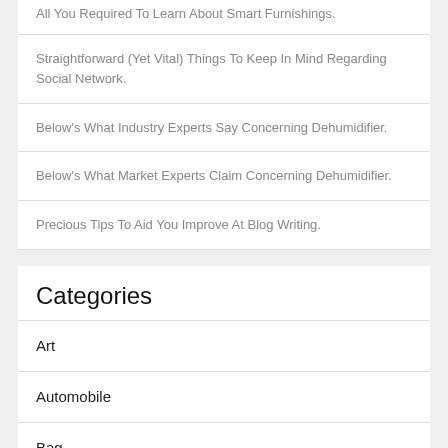All You Required To Learn About Smart Furnishings.
Straightforward (Yet Vital) Things To Keep In Mind Regarding Social Network.
Below's What Industry Experts Say Concerning Dehumidifier.
Below's What Market Experts Claim Concerning Dehumidifier.
Precious Tips To Aid You Improve At Blog Writing.
Categories
Art
Automobile
Bag